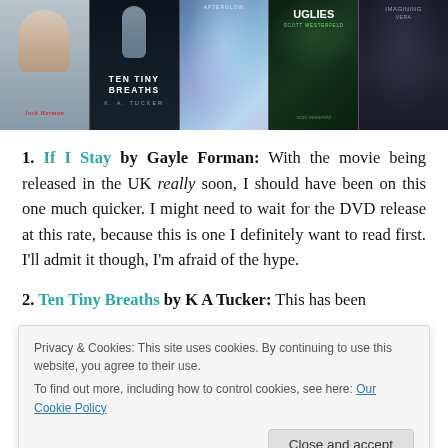[Figure (photo): A horizontal strip of five book covers: an unnamed book with a face, Ten Tiny Breaths by K.A. Tucker, a colorful cover (Afterglow or similar), Uglies by Scott Westerfeld, and a dark cover on the right.]
1. If I Stay by Gayle Forman: With the movie being released in the UK really soon, I should have been on this one much quicker. I might need to wait for the DVD release at this rate, because this is one I definitely want to read first. I'll admit it though, I'm afraid of the hype.
2. Ten Tiny Breaths by K A Tucker: This has been
Privacy & Cookies: This site uses cookies. By continuing to use this website, you agree to their use. To find out more, including how to control cookies, see here: Our Cookie Policy
Close and accept
3. Dissonance by Erica O'Rourke Can't we just take